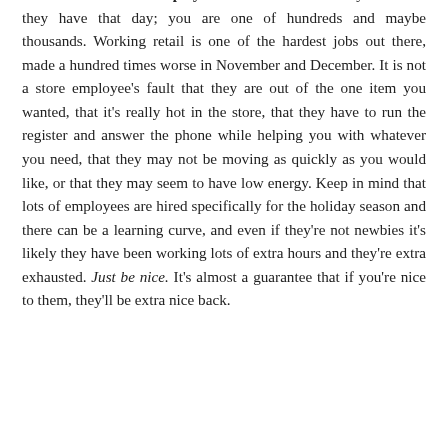8. Be nice to store employees. You are not the only customer they have that day; you are one of hundreds and maybe thousands. Working retail is one of the hardest jobs out there, made a hundred times worse in November and December. It is not a store employee's fault that they are out of the one item you wanted, that it's really hot in the store, that they have to run the register and answer the phone while helping you with whatever you need, that they may not be moving as quickly as you would like, or that they may seem to have low energy. Keep in mind that lots of employees are hired specifically for the holiday season and there can be a learning curve, and even if they're not newbies it's likely they have been working lots of extra hours and they're extra exhausted. Just be nice. It's almost a guarantee that if you're nice to them, they'll be extra nice back.